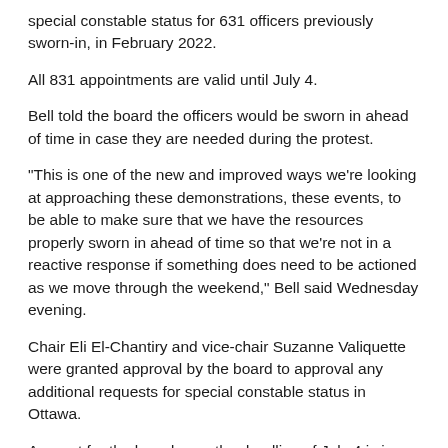special constable status for 631 officers previously sworn-in, in February 2022.
All 831 appointments are valid until July 4.
Bell told the board the officers would be sworn in ahead of time in case they are needed during the protest.
"This is one of the new and improved ways we're looking at approaching these demonstrations, these events, to be able to make sure that we have the resources properly sworn in ahead of time so that we're not in a reactive response if something does need to be actioned as we move through the weekend," Bell said Wednesday evening.
Chair Eli El-Chantiry and vice-chair Suzanne Valiquette were granted approval by the board to approval any additional requests for special constable status in Ottawa.
A report for the board says the deadline of July 4 is in